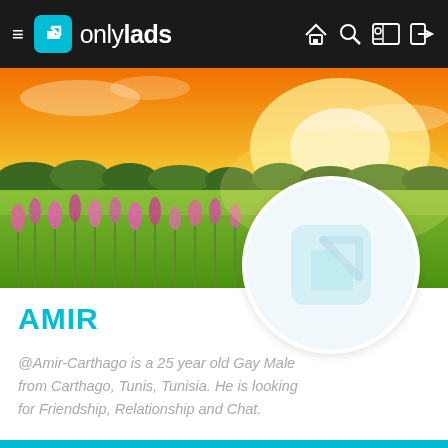[Figure (screenshot): OnlyLads app navigation bar with hamburger menu, teal logo icon with arrow, 'only' and 'lads' text logo in white, and navigation icons (home, search, profile, login) on dark background]
[Figure (photo): Landscape cover photo showing a green field with pink wildflowers in the foreground, trees in the background, and a bright golden orange sunset sky]
[Figure (logo): Circular profile avatar placeholder with light teal OnlyLads arrow logo watermark on white/light gray background]
AMIR
@Amir-Carthago is a 25 year old Gay Male from Carthago, Tunis, Tunisia. He is looking for Friendship, Relationship and Chat.